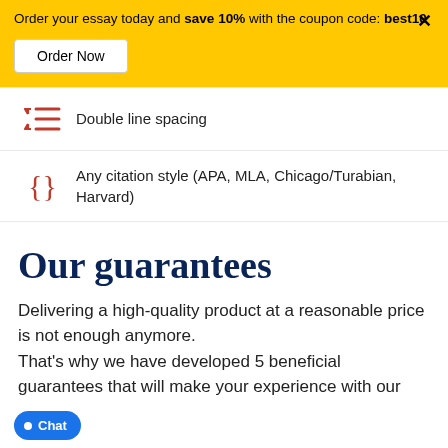Order your essay today and save 10% with the coupon code: best10
Double line spacing
Any citation style (APA, MLA, Chicago/Turabian, Harvard)
Our guarantees
Delivering a high-quality product at a reasonable price is not enough anymore. That's why we have developed 5 beneficial guarantees that will make your experience with our